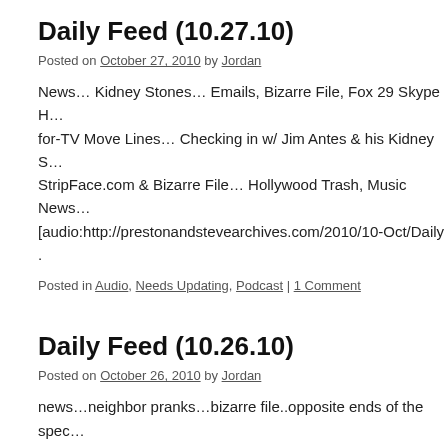Daily Feed (10.27.10)
Posted on October 27, 2010 by Jordan
News… Kidney Stones… Emails, Bizarre File, Fox 29 Skype H… for-TV Move Lines… Checking in w/ Jim Antes & his Kidney S… StripFace.com & Bizarre File… Hollywood Trash, Music News… [audio:http://prestonandstevearchives.com/2010/10-Oct/Daily .
Posted in Audio, Needs Updating, Podcast | 1 Comment
Daily Feed (10.26.10)
Posted on October 26, 2010 by Jordan
news…neighbor pranks…bizarre file..opposite ends of the spec… Hollywood Trash…Music News…wrap up [audio:http://prestor… Oct/Daily Feed (10.26.10).mp3|titles=Daily Feed (10.26.10)|arti… Download Podcast Watch Hottie Cam
Posted in Audio, Needs Updating, Podcast | 1 Comment